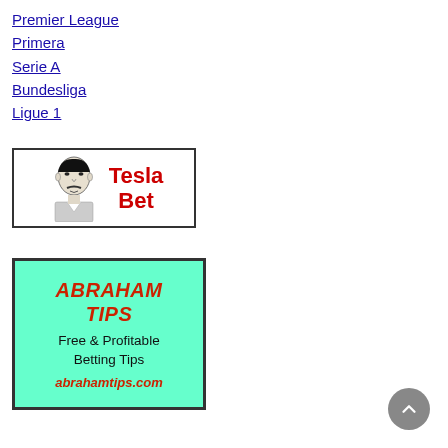Premier League
Primera
Serie A
Bundesliga
Ligue 1
[Figure (logo): Tesla Bet logo with illustrated face of Nikola Tesla and red bold text 'Tesla Bet']
[Figure (advertisement): Abraham Tips advertisement with cyan/mint background, red bold italic uppercase text 'ABRAHAM TIPS', black text 'Free & Profitable Betting Tips', red italic text 'abrahamtips.com']